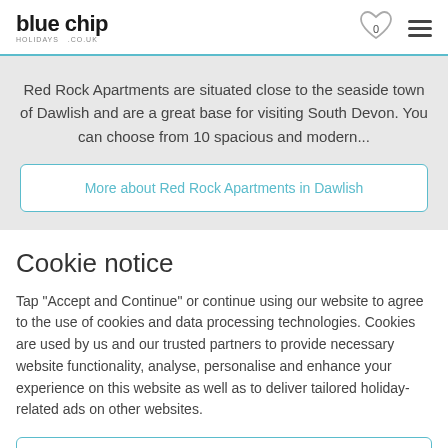blue chip holidays .co.uk
Red Rock Apartments are situated close to the seaside town of Dawlish and are a great base for visiting South Devon. You can choose from 10 spacious and modern...
More about Red Rock Apartments in Dawlish
Cookie notice
Tap "Accept and Continue" or continue using our website to agree to the use of cookies and data processing technologies. Cookies are used by us and our trusted partners to provide necessary website functionality, analyse, personalise and enhance your experience on this website as well as to deliver tailored holiday-related ads on other websites.
Accept and Continue